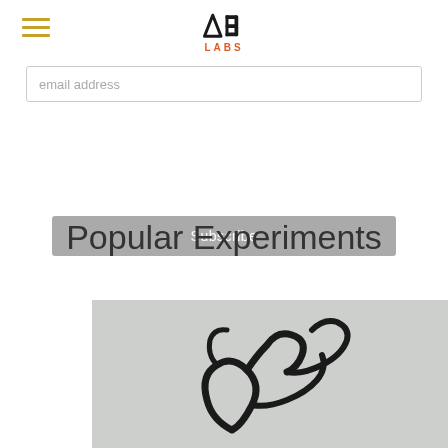AB LABS
email address
Subscribe
Popular Experiments
[Figure (photo): Close-up photo of black abstract brushstroke or wire-like shapes on a light gray/white textured background, resembling a figure or calligraphic marks]